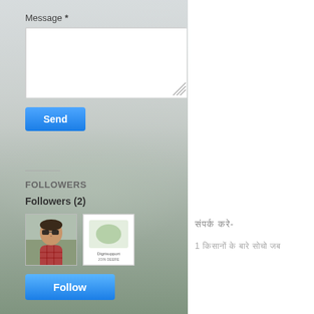Message *
[Figure (screenshot): Empty textarea input box for message entry]
Send
FOLLOWERS
Followers (2)
[Figure (photo): Two follower avatars: a person with sunglasses and a brand logo (Digrisupport)]
Follow
संपर्क करे-
1 किसानों के बारे सोचो जब